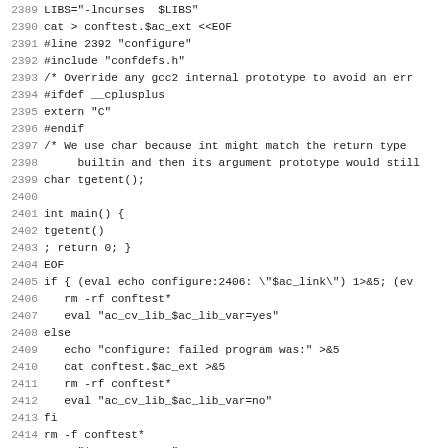Source code listing lines 2389-2420 of a configure shell script
2389 LIBS="-lncurses  $LIBS"
2390 cat > conftest.$ac_ext <<EOF
2391 #line 2392 "configure"
2392 #include "confdefs.h"
2393 /* Override any gcc2 internal prototype to avoid an err
2394 #ifdef __cplusplus
2395 extern "C"
2396 #endif
2397 /* We use char because int might match the return type
2398      builtin and then its argument prototype would still
2399 char tgetent();
2400 
2401 int main() {
2402 tgetent()
2403 ; return 0; }
2404 EOF
2405 if { (eval echo configure:2406: \"$ac_link\") 1>&5; (ev
2406    rm -rf conftest*
2407    eval "ac_cv_lib_$ac_lib_var=yes"
2408 else
2409    echo "configure: failed program was:" >&5
2410    cat conftest.$ac_ext >&5
2411    rm -rf conftest*
2412    eval "ac_cv_lib_$ac_lib_var=no"
2413 fi
2414 rm -f conftest*
2415 LIBS="$ac_save_LIBS"
2416 
2417 fi
2418 if eval "test \"'echo '$ac_cv_lib_'$ac_lib_var'\" = yes
2419    echo "$ac_t""yes" 1>&6
2420    LIBTERMCAP="-lncurses"